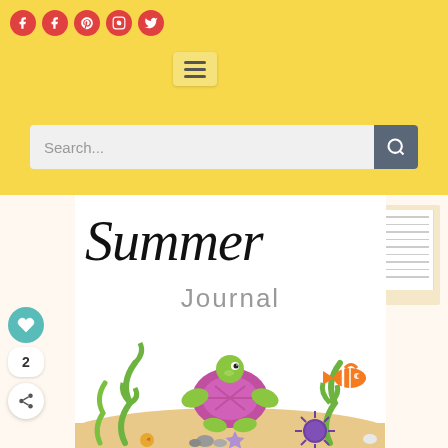[Figure (screenshot): Website header with yellow background, social media icons (Facebook, Facebook, Pinterest, Instagram, Twitter), hamburger menu button, and search bar]
[Figure (illustration): Summer Journal book cover featuring cursive 'Summer' text and 'Journal' subtitle with cartoon sea turtle, fish, seaweed, starfish, sea urchin, and sandy ocean floor scene]
Search...
Summer
Journal
2